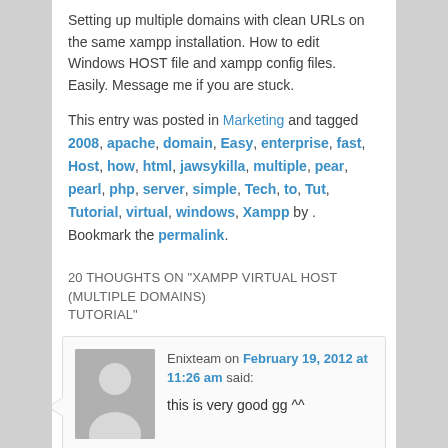Setting up multiple domains with clean URLs on the same xampp installation. How to edit Windows HOST file and xampp config files. Easily. Message me if you are stuck.
This entry was posted in Marketing and tagged 2008, apache, domain, Easy, enterprise, fast, Host, how, html, jawsykilla, multiple, pear, pearl, php, server, simple, Tech, to, Tut, Tutorial, virtual, windows, Xampp by . Bookmark the permalink.
20 THOUGHTS ON "XAMPP VIRTUAL HOST (MULTIPLE DOMAINS) TUTORIAL"
Enixteam on February 19, 2012 at 11:26 am said: this is very good gg ^^